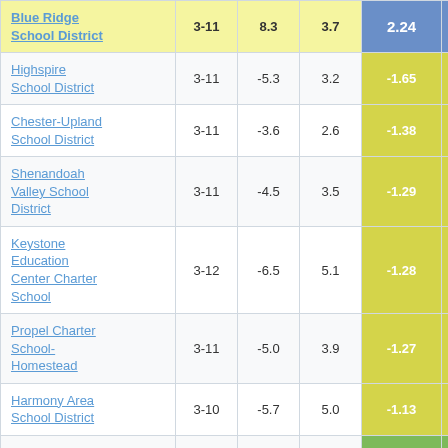| School/District | Grades | Col3 | Col4 | Score |  |
| --- | --- | --- | --- | --- | --- |
| Blue Ridge School District | 3-11 | 8.3 | 3.7 | 2.24 |  |
| Highspire School District | 3-11 | -5.3 | 3.2 | -1.65 |  |
| Chester-Upland School District | 3-11 | -3.6 | 2.6 | -1.38 |  |
| Shenandoah Valley School District | 3-11 | -4.5 | 3.5 | -1.29 |  |
| Keystone Education Center Charter School | 3-12 | -6.5 | 5.1 | -1.28 |  |
| Propel Charter School-Homestead | 3-11 | -5.0 | 3.9 | -1.27 |  |
| Harmony Area School District | 3-10 | -5.7 | 5.0 | -1.13 |  |